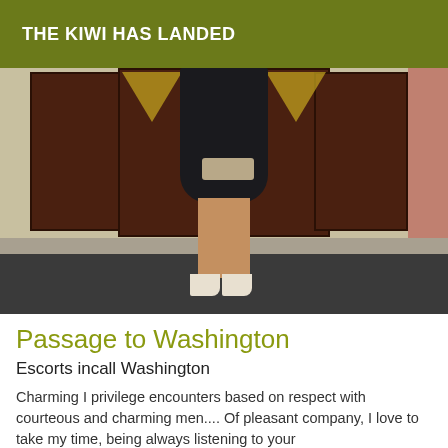THE KIWI HAS LANDED
[Figure (photo): A woman in a black dress and white heels holding a clutch purse, standing in front of dark wooden double doors]
Passage to Washington
Escorts incall Washington
Charming I privilege encounters based on respect with courteous and charming men.... Of pleasant company, I love to take my time, being always listening to your